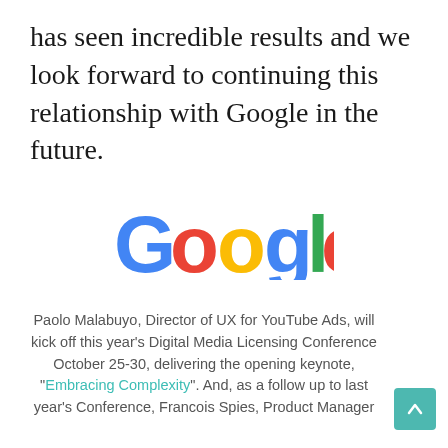has seen incredible results and we look forward to continuing this relationship with Google in the future.
[Figure (logo): Google logo in multicolor (blue, red, yellow, blue, green, red)]
Paolo Malabuyo, Director of UX for YouTube Ads, will kick off this year's Digital Media Licensing Conference October 25-30, delivering the opening keynote, “Embracing Complexity”. And, as a follow up to last year’s Conference, Francois Spies, Product Manager